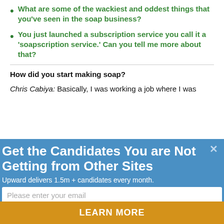What are some of the wackiest and oddest things that you've seen in the soap business?
You just launched a subscription service you call it a 'soapscription service.' Can you tell me more about that?
How did you start making soap?
Chris Cabiya: Basically, I was working a job where I was
[Figure (screenshot): Popup advertisement overlay with blue background. Title: 'Get the Candidates You are Not Getting from Other Sites'. Subtitle: 'Upward delivers 1.5m + candidates every month.' Email input field with placeholder 'Please enter your email'. Orange button at bottom with text 'LEARN MORE'. Close button (x) in top right corner.]